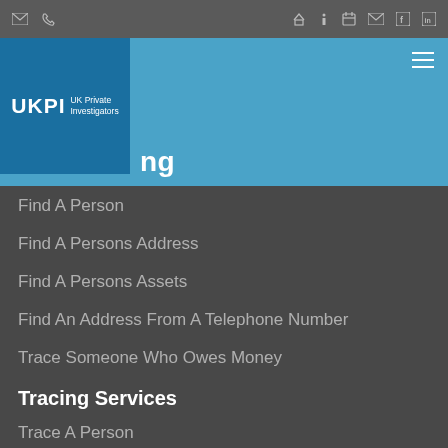Navigation icons: email, phone, home, info, calendar, mail, facebook, linkedin
[Figure (logo): UKPI UK Private Investigators logo on dark blue background]
...ng
Find A Person
Find A Persons Address
Find A Persons Assets
Find An Address From A Telephone Number
Trace Someone Who Owes Money
Tracing Services
Trace A Person
Trace A Person By Address
Trace A Person By Telephone
Other